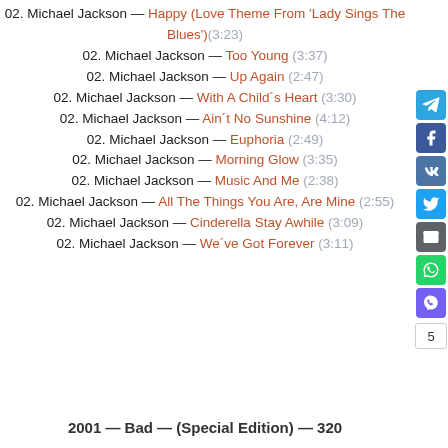02. Michael Jackson — Happy (Love Theme From 'Lady Sings The Blues') (3:23)
02. Michael Jackson — Too Young (3:37)
02. Michael Jackson — Up Again (2:47)
02. Michael Jackson — With A Child´s Heart (3:30)
02. Michael Jackson — Ain´t No Sunshine (4:12)
02. Michael Jackson — Euphoria (2:49)
02. Michael Jackson — Morning Glow (3:35)
02. Michael Jackson — Music And Me (2:38)
02. Michael Jackson — All The Things You Are, Are Mine (2:55)
02. Michael Jackson — Cinderella Stay Awhile (3:09)
02. Michael Jackson — We´ve Got Forever (3:11)
2001 — Bad — (Special Edition) — 320